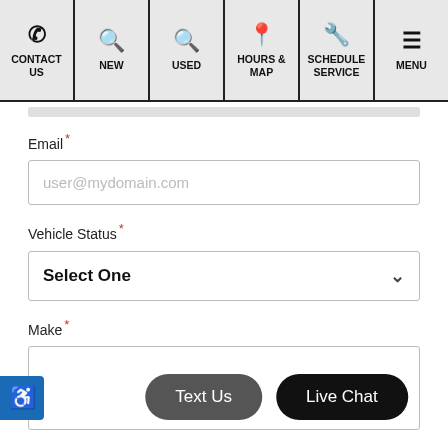Navigation bar with: CONTACT US, NEW, USED, HOURS & MAP, SCHEDULE SERVICE, MENU
Email *
user@mydomain.com (placeholder)
Vehicle Status *
Select One (dropdown)
Make *
Model *
Text Us
Live Chat